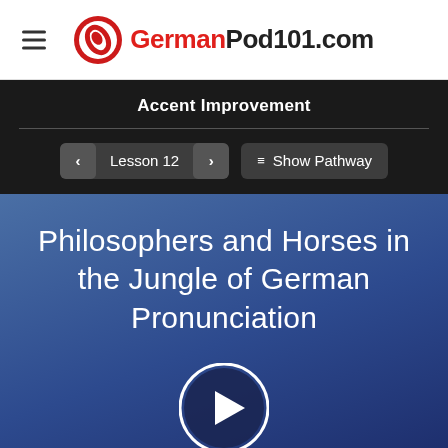GermanPod101.com
Accent Improvement
Lesson 12  Show Pathway
Philosophers and Horses in the Jungle of German Pronunciation
[Figure (other): Play button circle for video lesson]